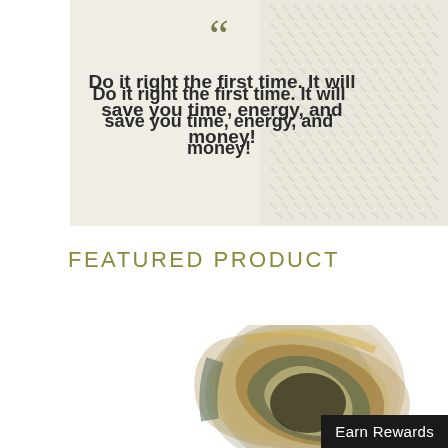[Figure (illustration): Quote box with decorative background pattern on right side and quotation mark symbol at top. Beige/cream background with subtle leaf/dash pattern texture on the right portion.]
Do it right the first time. It will save you time, energy, and money!
FEATURED PRODUCT
[Figure (photo): Close-up photo of a decorative glass or abalone shell piece with swirling brown, teal, and cream colors.]
Earn Rewards